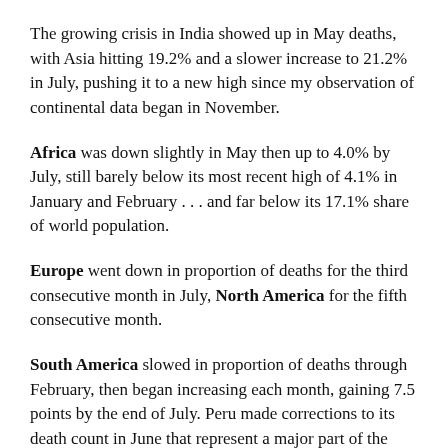The growing crisis in India showed up in May deaths, with Asia hitting 19.2% and a slower increase to 21.2% in July, pushing it to a new high since my observation of continental data began in November.
Africa was down slightly in May then up to 4.0% by July, still barely below its most recent high of 4.1% in January and February . . . and far below its 17.1% share of world population.
Europe went down in proportion of deaths for the third consecutive month in July, North America for the fifth consecutive month.
South America slowed in proportion of deaths through February, then began increasing each month, gaining 7.5 points by the end of July. Peru made corrections to its death count in June that represent a major part of the jump in